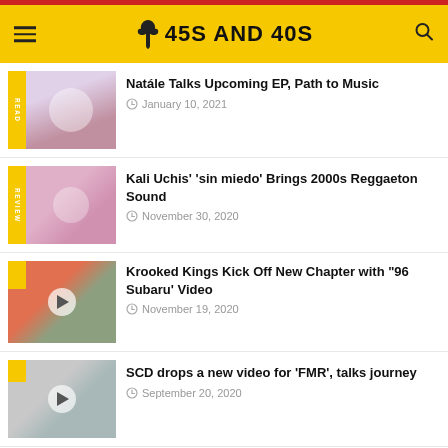45S AND 40S
Natále Talks Upcoming EP, Path to Music — January 10, 2021
Kali Uchis' 'sin miedo' Brings 2000s Reggaeton Sound — November 30, 2020
Krooked Kings Kick Off New Chapter with "96 Subaru" Video — November 19, 2020
SCD drops a new video for 'FMR', talks journey — September 20, 2020
My not-so-great hip hop album covers list — June 30, 2020